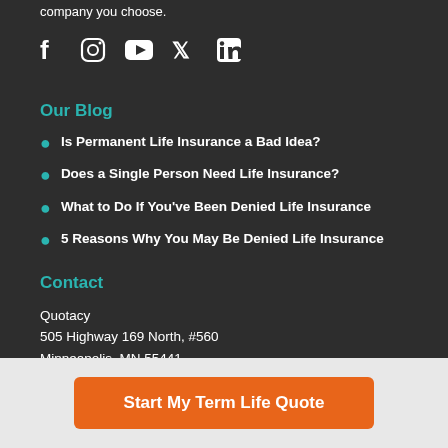company you choose.
[Figure (illustration): Social media icons: Facebook, Instagram, YouTube, Twitter, LinkedIn]
Our Blog
Is Permanent Life Insurance a Bad Idea?
Does a Single Person Need Life Insurance?
What to Do If You've Been Denied Life Insurance
5 Reasons Why You May Be Denied Life Insurance
Contact
Quotacy
505 Highway 169 North, #560
Minneapolis, MN 55441
Start My Term Life Quote